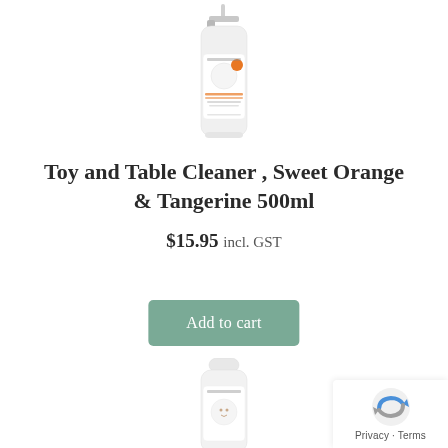[Figure (photo): White spray bottle of Toy and Table Cleaner, Sweet Orange & Tangerine 500ml product, partially visible at top of page]
Toy and Table Cleaner , Sweet Orange & Tangerine 500ml
$15.95 incl. GST
Add to cart
[Figure (photo): White bottle of a similar KiloKilom product, partially visible at bottom of page]
[Figure (logo): Google reCAPTCHA badge with Privacy and Terms links]